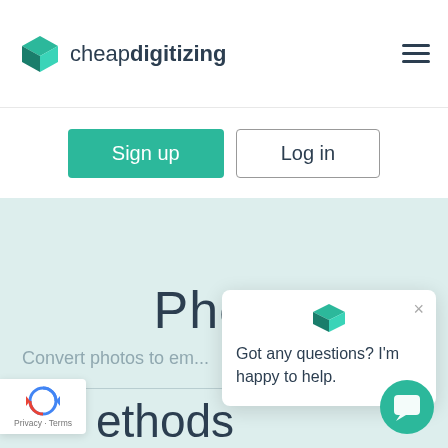cheapdigitizing
[Figure (logo): cheapdigitizing logo with teal 3D box icon and text 'cheapdigitizing']
[Figure (other): Hamburger menu icon (three horizontal lines)]
Sign up
Log in
Photo
Convert photos to em...
[Figure (screenshot): Chat popup with teal logo icon, close X button, and text: Got any questions? I'm happy to help.]
Got any questions? I'm happy to help.
ethods
[Figure (other): reCAPTCHA badge with logo and Privacy · Terms text]
[Figure (other): Teal chat bubble button with speech bubble icon]